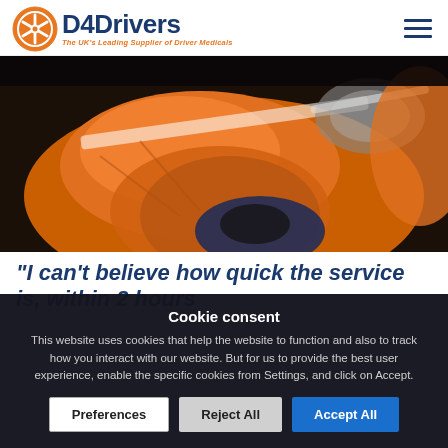D4Drivers – The UK's Leading Supplier of Driver Medicals
[Figure (photo): Close-up photo of a person in an orange high-visibility jacket, seated in a vehicle cab, wearing gloves and goggles on their head.]
“I can’t believe how quick the service is, within 2 hours
Cookie consent
This website uses cookies that help the website to function and also to track how you interact with our website. But for us to provide the best user experience, enable the specific cookies from Settings, and click on Accept.
Preferences  Reject All  Accept All